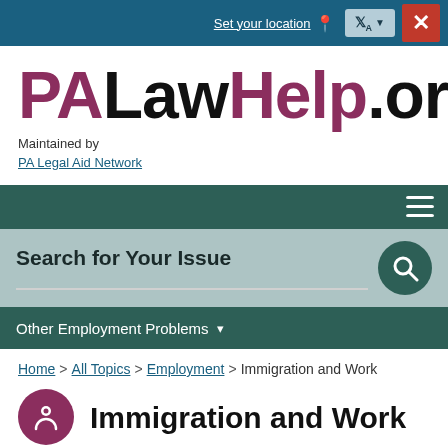Set your location | Translate | Close
PALawHelp.org
Maintained by
PA Legal Aid Network
[Figure (screenshot): Navigation bar with hamburger menu icon on dark teal background]
[Figure (screenshot): Search bar area with label 'Search for Your Issue' and search button on muted teal background]
Other Employment Problems ▾
Home > All Topics > Employment > Immigration and Work
Immigration and Work